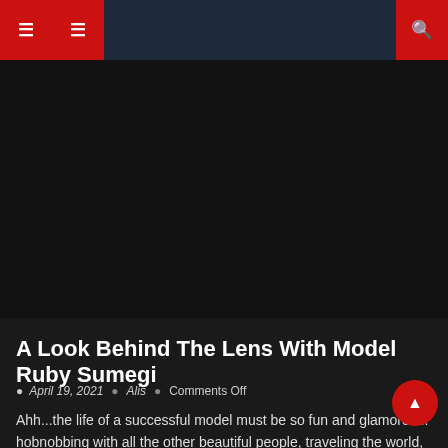Navigation bar with menu icons and search
[Figure (photo): Dark/black hero image area representing a photo that has not loaded or is very dark]
CelebsFans Exclusive
A Look Behind The Lens With Model Ruby Sumegi
April 19, 2021 | Alis | Comments Off
Ahh...the life of a successful model must be so fun and glamorous: hobnobbing with all the other beautiful people, traveling the world, staying in 5-star hotels, being on the cover of nationally known magazines, walking the red carpet